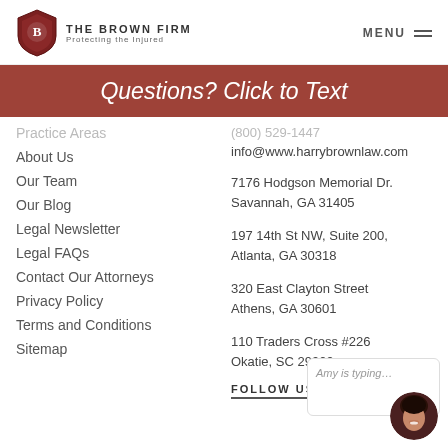THE BROWN FIRM — Protecting the Injured | MENU
Questions? Click to Text
Practice Areas
About Us
Our Team
Our Blog
Legal Newsletter
Legal FAQs
Contact Our Attorneys
Privacy Policy
Terms and Conditions
Sitemap
(800) 529-1447
info@www.harrybrownlaw.com
7176 Hodgson Memorial Dr. Savannah, GA 31405
197 14th St NW, Suite 200, Atlanta, GA 30318
320 East Clayton Street Athens, GA 30601
110 Traders Cross #226 Okatie, SC 29909
FOLLOW US